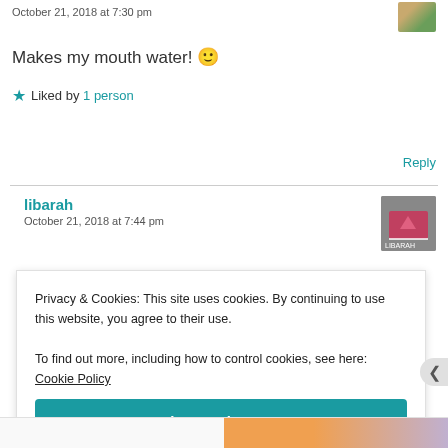October 21, 2018 at 7:30 pm
Makes my mouth water! 🙂
Liked by 1 person
Reply
libarah
October 21, 2018 at 7:44 pm
Privacy & Cookies: This site uses cookies. By continuing to use this website, you agree to their use.
To find out more, including how to control cookies, see here: Cookie Policy
Close and accept